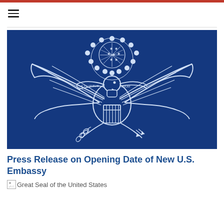[Figure (illustration): U.S. Embassy website header with red top bar and hamburger menu icon]
[Figure (photo): Great Seal of the United States — white eagle with spread wings, shield, stars, and olive branch/arrows on a dark blue background]
Press Release on Opening Date of New U.S. Embassy
[Figure (illustration): Broken image placeholder with alt text: Great Seal of the United States]